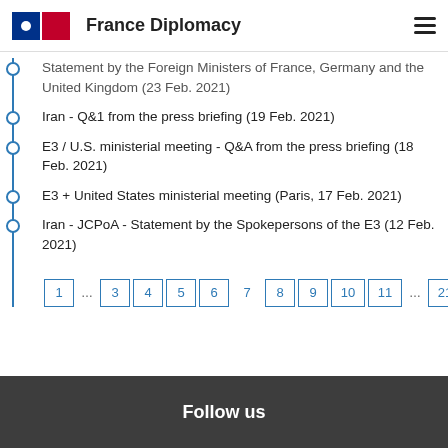France Diplomacy
Statement by the Foreign Ministers of France, Germany and the United Kingdom (23 Feb. 2021)
Iran - Q&1 from the press briefing (19 Feb. 2021)
E3 / U.S. ministerial meeting - Q&A from the press briefing (18 Feb. 2021)
E3 + United States ministerial meeting (Paris, 17 Feb. 2021)
Iran - JCPoA - Statement by the Spokepersons of the E3 (12 Feb. 2021)
1 … 3 4 5 6 7 8 9 10 11 … 21
Follow us